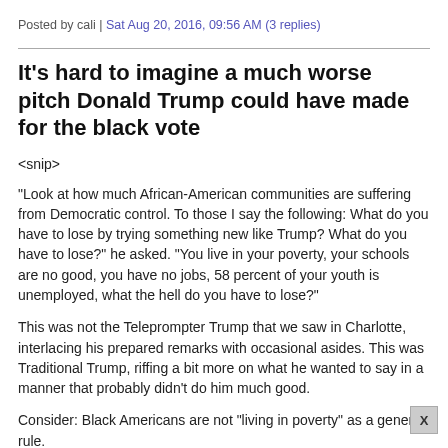Posted by cali | Sat Aug 20, 2016, 09:56 AM (3 replies)
It's hard to imagine a much worse pitch Donald Trump could have made for the black vote
<snip>
"Look at how much African-American communities are suffering from Democratic control. To those I say the following: What do you have to lose by trying something new like Trump? What do you have to lose?" he asked. "You live in your poverty, your schools are no good, you have no jobs, 58 percent of your youth is unemployed, what the hell do you have to lose?"
This was not the Teleprompter Trump that we saw in Charlotte, interlacing his prepared remarks with occasional asides. This was Traditional Trump, riffing a bit more on what he wanted to say in a manner that probably didn't do him much good.
Consider: Black Americans are not "living in poverty" as a general rule.